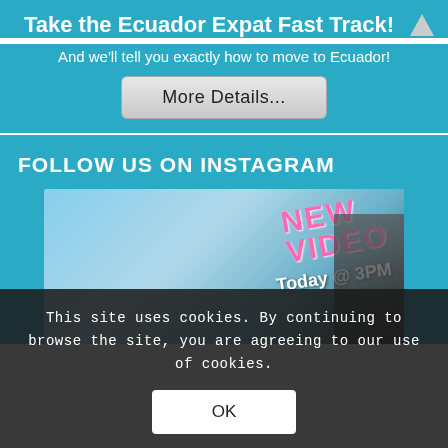Take the Ecuador Expat Fast Track!
And we’ll tell you exactly how to move to Ecuador!
More Details...
FOLLOW US ON INSTAGRAM
[Figure (photo): Instagram post preview showing sky background with 'NEW VIDEO Today @ 3PM' text overlay and a dark figure silhouette]
This site uses cookies. By continuing to browse the site, you are agreeing to our use of cookies.
OK